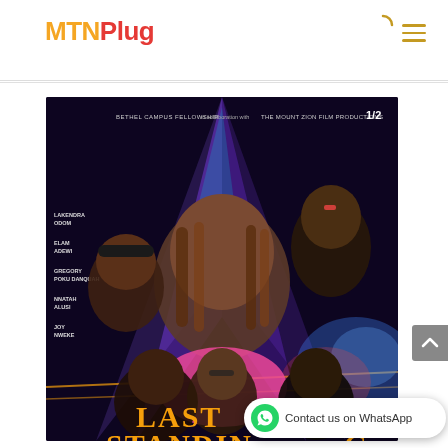MTNPlug
[Figure (photo): Movie poster for 'Last Standing' — a Bethel Campus Fellowship in collaboration with The Mount Zion Film Productions. Features several cast members including lead female actress center-front in pink top with braids, male with cap, and others. Cast names listed on left: LAKENDRA ODOM, ELAM ADEWI, GREGORY POKU DANQUAH, NNATAH ALUSI, JOY NWEKE. Text '1/2' visible top right. Title 'LAST STANDING' partially visible at bottom in orange letters.]
Contact us on WhatsApp